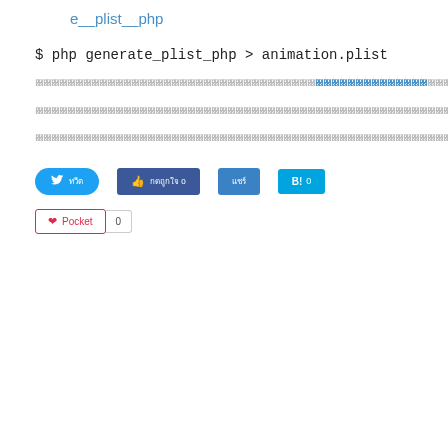e__plist__php
$ php generate_plist_php > animation.plist
[Thai text paragraph 1 with a link in the middle]
[Thai text paragraph 2]
[Thai text paragraph 3]
[Figure (other): Social sharing buttons: Twitter share button, Facebook like button (0), Facebook share button, Hatena bookmark button (0), Pocket button (0)]